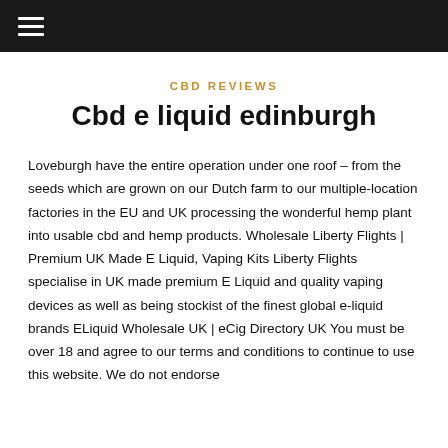☰
CBD REVIEWS
Cbd e liquid edinburgh
Loveburgh have the entire operation under one roof – from the seeds which are grown on our Dutch farm to our multiple-location factories in the EU and UK processing the wonderful hemp plant into usable cbd and hemp products. Wholesale Liberty Flights | Premium UK Made E Liquid, Vaping Kits Liberty Flights specialise in UK made premium E Liquid and quality vaping devices as well as being stockist of the finest global e-liquid brands ELiquid Wholesale UK | eCig Directory UK You must be over 18 and agree to our terms and conditions to continue to use this website. We do not endorse